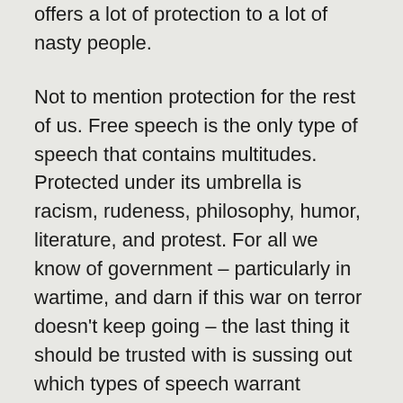offers a lot of protection to a lot of nasty people.
Not to mention protection for the rest of us. Free speech is the only type of speech that contains multitudes. Protected under its umbrella is racism, rudeness, philosophy, humor, literature, and protest. For all we know of government – particularly in wartime, and darn if this war on terror doesn't keep going – the last thing it should be trusted with is sussing out which types of speech warrant protection, and which do not. As Greenwald notes, this kind of hysteria gave us World War One's criminalization of antiwar protests, Japanese internment during World war II, and the worst of McCarthyism in the '50s. Attempts to police speech and protect also gave us programs like COINTELPRO in the '60s and '70s which more subtly strangled and sabotaged speech. (And such programs exist in other forms today. Or